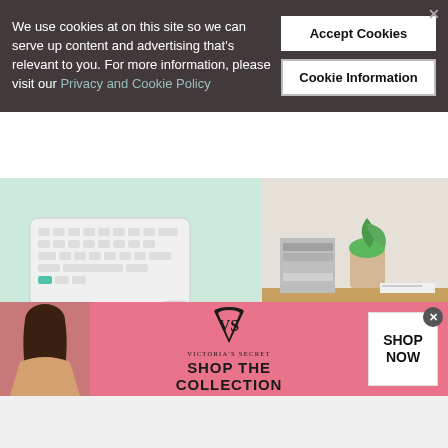We use cookies at on this site so we can serve up content and advertising that's relevant to you. For more information, please visit our Privacy and Cookie Policy
Accept Cookies
Cookie Information
[Figure (photo): Split product image: left side shows a wireless keyboard and mouse on a mint-green surface; right side shows a wooden desk with stacked books and a plant.]
11 Useful Products to Refresh and Organize Your Desk
[Figure (photo): Victoria's Secret advertisement banner with a model on the left, VS logo in the center, 'SHOP THE COLLECTION' text, and a 'SHOP NOW' button on the right.]